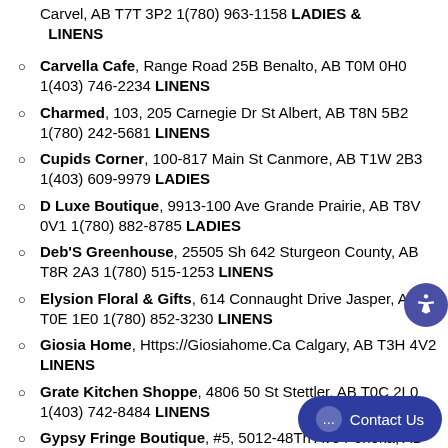Carvel, AB T7T 3P2 1(780) 963-1158 LADIES & LINENS
Carvella Cafe, Range Road 25B Benalto, AB T0M 0H0 1(403) 746-2234 LINENS
Charmed, 103, 205 Carnegie Dr St Albert, AB T8N 5B2 1(780) 242-5681 LINENS
Cupids Corner, 100-817 Main St Canmore, AB T1W 2B3 1(403) 609-9979 LADIES
D Luxe Boutique, 9913-100 Ave Grande Prairie, AB T8V 0V1 1(780) 882-8785 LADIES
Deb'S Greenhouse, 25505 Sh 642 Sturgeon County, AB T8R 2A3 1(780) 515-1253 LINENS
Elysion Floral & Gifts, 614 Connaught Drive Jasper, AB T0E 1E0 1(780) 852-3230 LINENS
Giosia Home, Https://Giosiahome.Ca Calgary, AB T3H 4V2 LINENS
Grate Kitchen Shoppe, 4806 50 St Stettler, AB T0C 2L0 1(403) 742-8484 LINENS
Gypsy Fringe Boutique, #5, 5012-48Th Ave Ponoka, AB T4J 1R7 1(403) 704-8000 LADIES & LINENS
H.H. Atkins Co Ltd, 289 M... T0K 0K0 1(403) 653-32...
Hair House, The, 5208 50th Street High